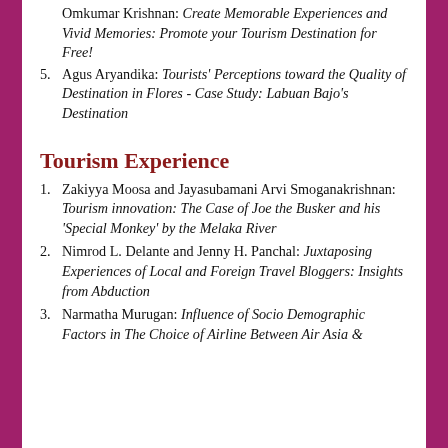Omkumar Krishnan: Create Memorable Experiences and Vivid Memories: Promote your Tourism Destination for Free!
5. Agus Aryandika: Tourists' Perceptions toward the Quality of Destination in Flores - Case Study: Labuan Bajo's Destination
Tourism Experience
1. Zakiyya Moosa and Jayasubamani Arvi Smoganakrishnan: Tourism innovation: The Case of Joe the Busker and his 'Special Monkey' by the Melaka River
2. Nimrod L. Delante and Jenny H. Panchal: Juxtaposing Experiences of Local and Foreign Travel Bloggers: Insights from Abduction
3. Narmatha Murugan: Influence of Socio Demographic Factors in The Choice of Airline Between Air Asia &